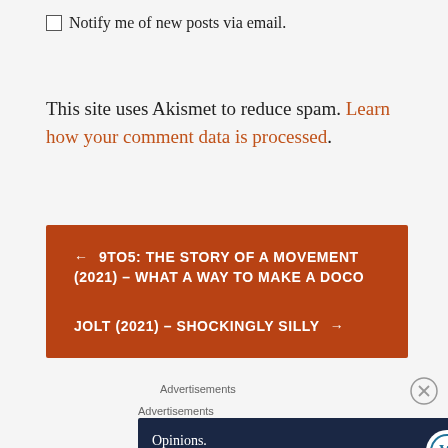Notify me of new posts via email.
This site uses Akismet to reduce spam. Learn how your comment data is processed.
← 9TO5: THE STORY OF A MOVEMENT (2021) – WHAT A WAY TO MAKE A DOCO
JOLT (2021) – SHOCKINGLY SILLY →
Advertisements
Advertisements
[Figure (screenshot): Advertisement banner: dark navy background with text 'Opinions. We all have them!' and WordPress and Reader logos on the right.]